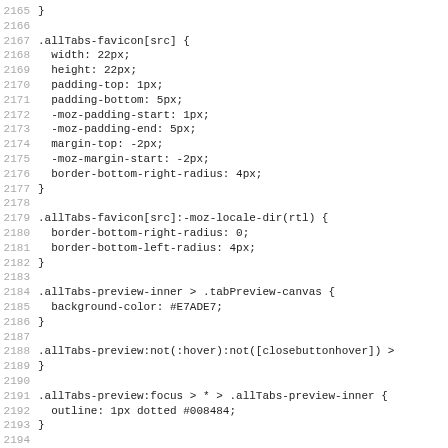2165 }
2166 
2167 .allTabs-favicon[src] {
2168   width: 22px;
2169   height: 22px;
2170   padding-top: 1px;
2171   padding-bottom: 5px;
2172   -moz-padding-start: 1px;
2173   -moz-padding-end: 5px;
2174   margin-top: -2px;
2175   -moz-margin-start: -2px;
2176   border-bottom-right-radius: 4px;
2177 }
2178 
2179 .allTabs-favicon[src]:-moz-locale-dir(rtl) {
2180   border-bottom-right-radius: 0;
2181   border-bottom-left-radius: 4px;
2182 }
2183 
2184 .allTabs-preview-inner > .tabPreview-canvas {
2185   background-color: #E7ADE7;
2186 }
2187 
2188 .allTabs-preview:not(:hover):not([closebuttonhover]) >
2189 }
2190 
2191 .allTabs-preview:focus > * > .allTabs-preview-inner {
2192   outline: 1px dotted #008484;
2193 }
2194 
2195 /* Inspector / Highlighter */
2196 
2197 #highlighter...